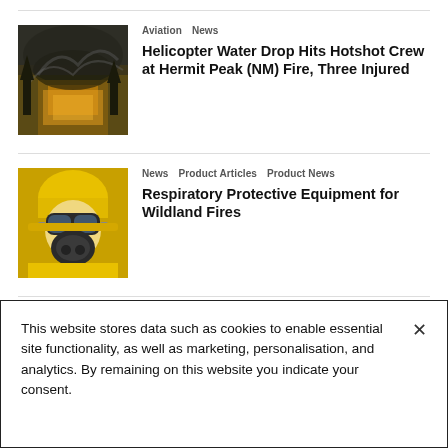[Figure (photo): Helicopter water drop on wildfire, dark smoke and orange glow]
Aviation  News
Helicopter Water Drop Hits Hotshot Crew at Hermit Peak (NM) Fire, Three Injured
[Figure (photo): Firefighter in yellow gear with respirator mask and goggles]
News  Product Articles  Product News
Respiratory Protective Equipment for Wildland Fires
[Figure (photo): Wildfire aftermath in a scenic river town, burned structures and a person in foreground]
Firefighting  News
Deadly CA Wildfire Wipes Out Scenic River Town
This website stores data such as cookies to enable essential site functionality, as well as marketing, personalisation, and analytics. By remaining on this website you indicate your consent.